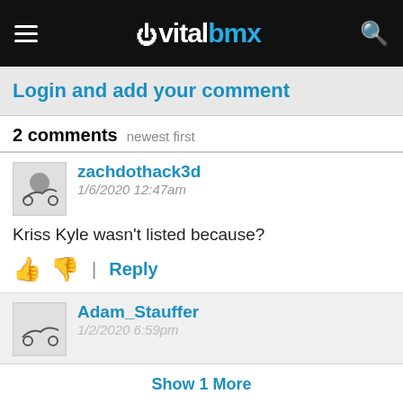vitalbmx
Login and add your comment
2 comments newest first
zachdothack3d
1/6/2020 12:47am
Kriss Kyle wasn't listed because?
Adam_Stauffer
1/2/2020 6:59pm
Show 1 More
RELATED
Ennis SD Park Mix 3 featuring Reynolds, Rogoish, Morrow, Kerley, and More